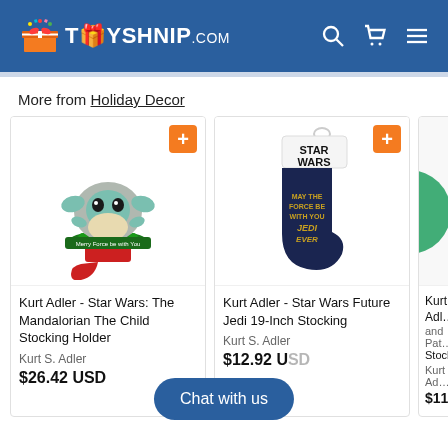TOYSHNIP.com
More from Holiday Decor
[Figure (photo): Product card: Kurt Adler - Star Wars: The Mandalorian The Child Stocking Holder, priced at $26.42 USD, by Kurt S. Adler]
[Figure (photo): Product card: Kurt Adler - Star Wars Future Jedi 19-Inch Stocking, priced at $12.92 USD, by Kurt S. Adler]
[Figure (photo): Partial product card: Kurt Adler - (partially visible), $11.98, Kurt S. Adler]